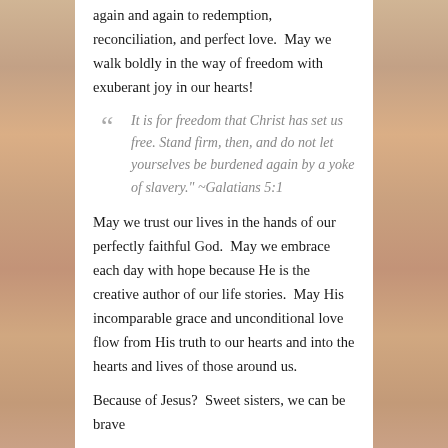again and again to redemption, reconciliation, and perfect love.  May we walk boldly in the way of freedom with exuberant joy in our hearts!
“It is for freedom that Christ has set us free. Stand firm, then, and do not let yourselves be burdened again by a yoke of slavery.” ~Galatians 5:1
May we trust our lives in the hands of our perfectly faithful God.  May we embrace each day with hope because He is the creative author of our life stories.  May His incomparable grace and unconditional love flow from His truth to our hearts and into the hearts and lives of those around us.
Because of Jesus?  Sweet sisters, we can be brave